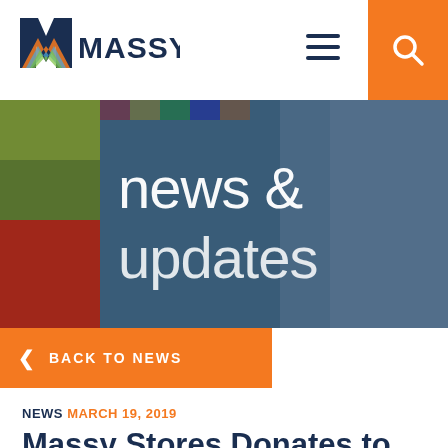[Figure (logo): Massy Group logo with colorful M icon and MASSY text in dark blue]
[Figure (screenshot): News and updates hero banner showing grocery store produce aisle with dark teal overlay and white text reading 'news & updates']
< BACK TO NEWS
NEWS MARCH 19, 2019
Massy Stores Donates to